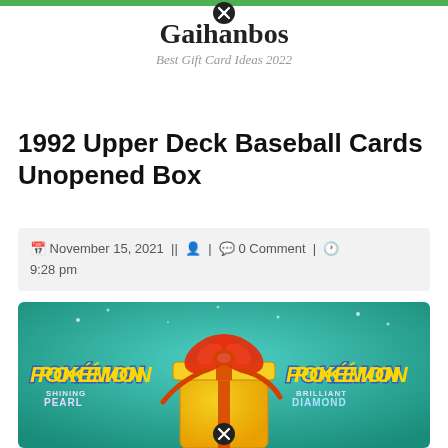Gaihanbos — Best Gift Card Ideas 2022
1992 Upper Deck Baseball Cards Unopened Box
November 15, 2021 || 0 Comment | 9:28 pm
[Figure (photo): Pokémon Shining Pearl and Pokémon Brilliant Diamond promotional image with a wrapped gift box in the center, on a teal background with star sparkles.]